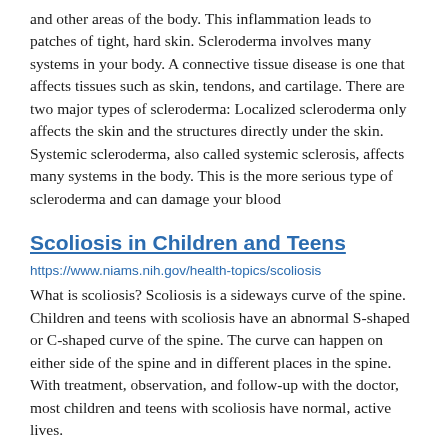and other areas of the body. This inflammation leads to patches of tight, hard skin. Scleroderma involves many systems in your body. A connective tissue disease is one that affects tissues such as skin, tendons, and cartilage. There are two major types of scleroderma: Localized scleroderma only affects the skin and the structures directly under the skin. Systemic scleroderma, also called systemic sclerosis, affects many systems in the body. This is the more serious type of scleroderma and can damage your blood
Scoliosis in Children and Teens
https://www.niams.nih.gov/health-topics/scoliosis
What is scoliosis? Scoliosis is a sideways curve of the spine. Children and teens with scoliosis have an abnormal S-shaped or C-shaped curve of the spine. The curve can happen on either side of the spine and in different places in the spine. With treatment, observation, and follow-up with the doctor, most children and teens with scoliosis have normal, active lives.
Rheumatoid Arthritis
https://www.niams.nih.gov/health-topics/rheumatoid-arthritis
What is rheumatoid arthritis? Rheumatoid arthritis (RA) is a chronic (long-lasting) disease that mostly affects joints, such as the wrist, hands, feet, spine, knees, and jaw. RA causes inflammation,